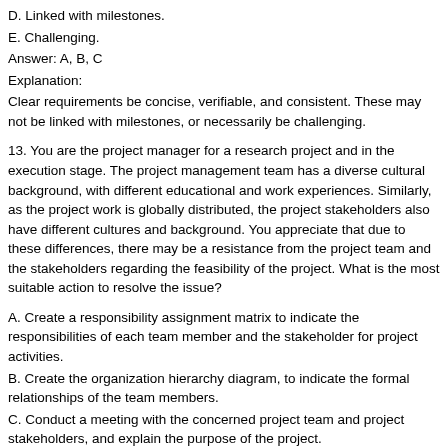D. Linked with milestones.
E. Challenging.
Answer: A, B, C
Explanation:
Clear requirements be concise, verifiable, and consistent. These may not be linked with milestones, or necessarily be challenging.
13. You are the project manager for a research project and in the execution stage. The project management team has a diverse cultural background, with different educational and work experiences. Similarly, as the project work is globally distributed, the project stakeholders also have different cultures and background. You appreciate that due to these differences, there may be a resistance from the project team and the stakeholders regarding the feasibility of the project. What is the most suitable action to resolve the issue?
A. Create a responsibility assignment matrix to indicate the responsibilities of each team member and the stakeholder for project activities.
B. Create the organization hierarchy diagram, to indicate the formal relationships of the team members.
C. Conduct a meeting with the concerned project team and project stakeholders, and explain the purpose of the project.
D. Implement the project management plan, and resolve the issues on their occurrence.
Answer: C
Explanation:
Issues due to cultural differences should be managed at the earliest by explaining the project purpose, and clarifying any misunderstandings.
14. Daily stand-up is an important feature in Agile projects. Select the best option from the list following that describes the significance of daily stand-up in Agile?